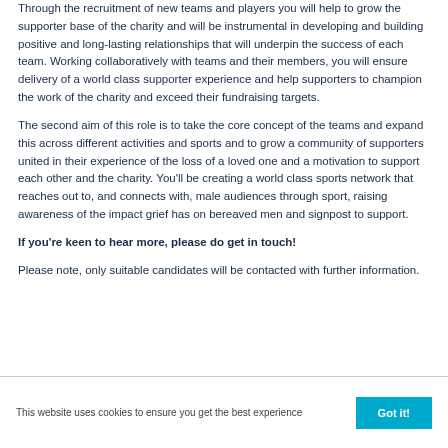Through the recruitment of new teams and players you will help to grow the supporter base of the charity and will be instrumental in developing and building positive and long-lasting relationships that will underpin the success of each team. Working collaboratively with teams and their members, you will ensure delivery of a world class supporter experience and help supporters to champion the work of the charity and exceed their fundraising targets.
The second aim of this role is to take the core concept of the teams and expand this across different activities and sports and to grow a community of supporters united in their experience of the loss of a loved one and a motivation to support each other and the charity. You'll be creating a world class sports network that reaches out to, and connects with, male audiences through sport, raising awareness of the impact grief has on bereaved men and signpost to support.
If you're keen to hear more, please do get in touch!
Please note, only suitable candidates will be contacted with further information.
This website uses cookies to ensure you get the best experience